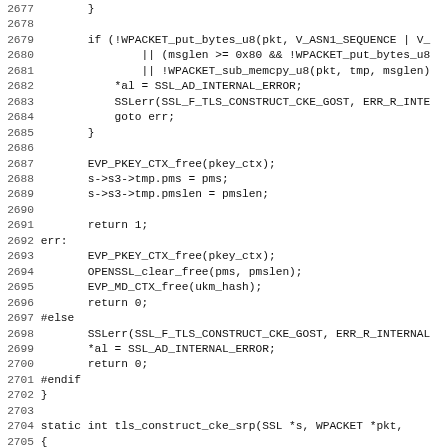[Figure (screenshot): Source code listing in monospace font showing C code for SSL/TLS GOST key exchange construction, lines 2677-2708]